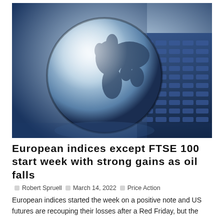[Figure (photo): A crystal glass globe showing world map continents, placed on a blue laptop keyboard, with soft blurred background in blue and light tones.]
European indices except FTSE 100 start week with strong gains as oil falls
Robert Spruell   March 14, 2022   Price Action
European indices started the week on a positive note and US futures are recouping their losses after a Red Friday, but the